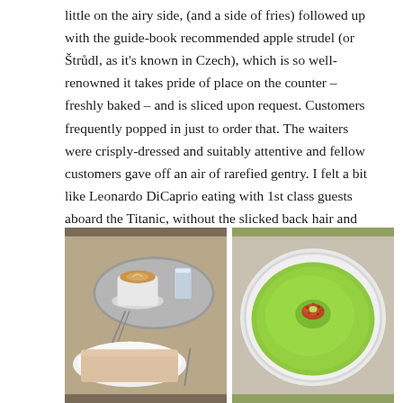little on the airy side, (and a side of fries) followed up with the guide-book recommended apple strudel (or Štrůdl, as it's known in Czech), which is so well-renowned it takes pride of place on the counter – freshly baked – and is sliced upon request. Customers frequently popped in just to order that. The waiters were crisply-dressed and suitably attentive and fellow customers gave off an air of rarefied gentry. I felt a bit like Leonardo DiCaprio eating with 1st class guests aboard the Titanic, without the slicked back hair and tailcoat.
[Figure (photo): Photo of a cappuccino on a silver tray with a glass of water and a fork and knife beside a slice of strudel dusted with powdered sugar on a white plate]
[Figure (photo): Photo of a bright green cream soup in a white bowl, topped with reddish-brown spice or crumble garnish in the center]